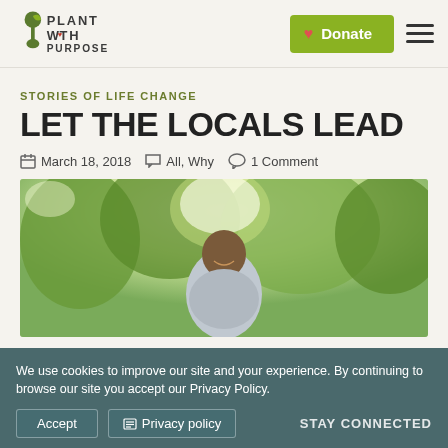Plant With Purpose — Donate — Menu
STORIES OF LIFE CHANGE
LET THE LOCALS LEAD
March 18, 2018   All, Why   1 Comment
[Figure (photo): Smiling man standing outdoors among green trees, sunlight in background]
We use cookies to improve our site and your experience. By continuing to browse our site you accept our Privacy Policy.
Accept   Privacy policy   STAY CONNECTED